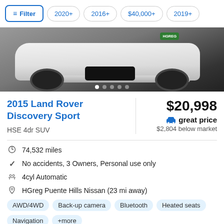Filter  2020+  2016+  $40,000+  2019+
[Figure (photo): Front view of a white SUV (Land Rover Discovery Sport) with a checkered floor and green dealer badge reading HGREG]
2015 Land Rover Discovery Sport
HSE 4dr SUV
$20,998
great price
$2,804 below market
74,532 miles
No accidents, 3 Owners, Personal use only
4cyl Automatic
HGreg Puente Hills Nissan (23 mi away)
AWD/4WD  Back-up camera  Bluetooth  Heated seats  Navigation  +more